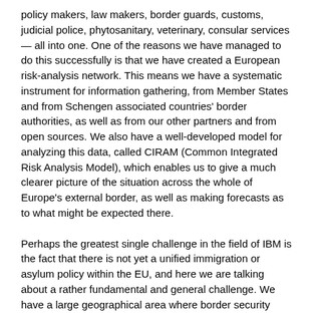policy makers, law makers, border guards, customs, judicial police, phytosanitary, veterinary, consular services— all into one. One of the reasons we have managed to do this successfully is that we have created a European risk-analysis network. This means we have a systematic instrument for information gathering, from Member States and from Schengen associated countries' border authorities, as well as from our other partners and from open sources. We also have a well-developed model for analyzing this data, called CIRAM (Common Integrated Risk Analysis Model), which enables us to give a much clearer picture of the situation across the whole of Europe's external border, as well as making forecasts as to what might be expected there.
Perhaps the greatest single challenge in the field of IBM is the fact that there is not yet a unified immigration or asylum policy within the EU, and here we are talking about a rather fundamental and general challenge. We have a large geographical area where border security measures do not include a provision for asylum claims. The example of air carriers is a good one. We can also take visa practices, which form a very critical part of what can be done before the border. When processing a visa application, the consular posts of the Member States do not usually accept asylum claims. In some cases, the same applies to patrols on international waters. There are possibilities under national and international laws to take certain steps for those who are moving in international waters, but, for asylum as a rule, Member States do not acknowledge asylum claims made in these areas and this is something